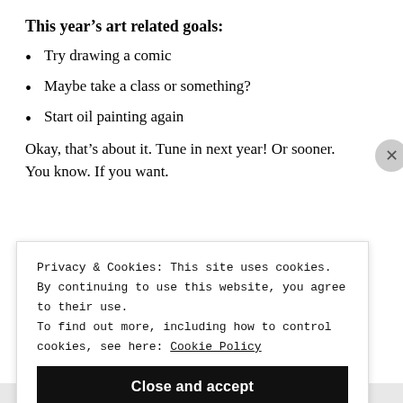This year's art related goals:
Try drawing a comic
Maybe take a class or something?
Start oil painting again
Okay, that’s about it. Tune in next year! Or sooner.
You know. If you want.
Privacy & Cookies: This site uses cookies. By continuing to use this website, you agree to their use.
To find out more, including how to control cookies, see here: Cookie Policy
Close and accept